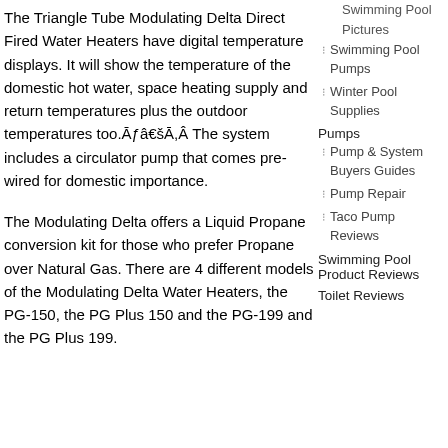The Triangle Tube Modulating Delta Direct Fired Water Heaters have digital temperature displays. It will show the temperature of the domestic hot water, space heating supply and return temperatures plus the outdoor temperatures too.Āƒâ€šĀ,Â  The system includes a circulator pump that comes pre-wired for domestic importance.
The Modulating Delta offers a Liquid Propane conversion kit for those who prefer Propane over Natural Gas. There are 4 different models of the Modulating Delta Water Heaters, the PG-150, the PG Plus 150 and the PG-199 and the PG Plus 199.
Swimming Pool Pictures
Swimming Pool Pumps
Winter Pool Supplies
Pumps
Pump & System Buyers Guides
Pump Repair
Taco Pump Reviews
Swimming Pool Product Reviews
Toilet Reviews